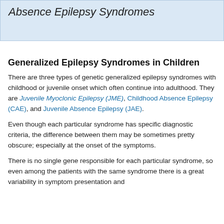Absence Epilepsy Syndromes
Generalized Epilepsy Syndromes in Children
There are three types of genetic generalized epilepsy syndromes with childhood or juvenile onset which often continue into adulthood. They are Juvenile Myoclonic Epilepsy (JME), Childhood Absence Epilepsy (CAE), and Juvenile Absence Epilepsy (JAE).
Even though each particular syndrome has specific diagnostic criteria, the difference between them may be sometimes pretty obscure; especially at the onset of the symptoms.
There is no single gene responsible for each particular syndrome, so even among the patients with the same syndrome there is a great variability in symptom presentation and